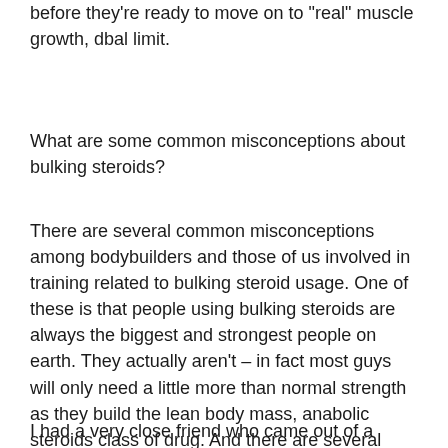before they're ready to move on to "real" muscle growth, dbal limit.
What are some common misconceptions about bulking steroids?
There are several common misconceptions among bodybuilders and those of us involved in training related to bulking steroid usage. One of these is that people using bulking steroids are always the biggest and strongest people on earth. They actually aren't – in fact most guys will only need a little more than normal strength as they build the lean body mass, anabolic steroids class of drug. And there are several different ways to build lean body mass. A lot of these methods have been around forever – it might have gone extinct due to a war.
I had a very close friend who came out of a